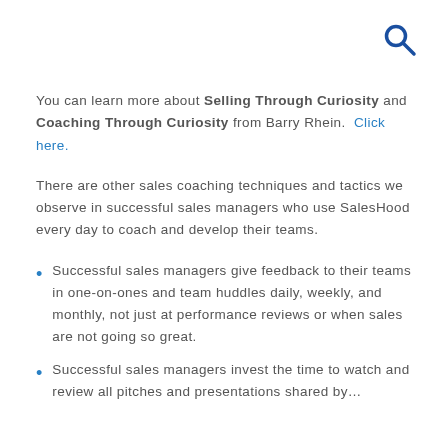[Figure (other): Search icon (magnifying glass) in dark blue, top right corner]
You can learn more about Selling Through Curiosity and Coaching Through Curiosity from Barry Rhein.  Click here.
There are other sales coaching techniques and tactics we observe in successful sales managers who use SalesHood every day to coach and develop their teams.
Successful sales managers give feedback to their teams in one-on-ones and team huddles daily, weekly, and monthly, not just at performance reviews or when sales are not going so great.
Successful sales managers invest the time to watch and review all pitches and presentations shared by…